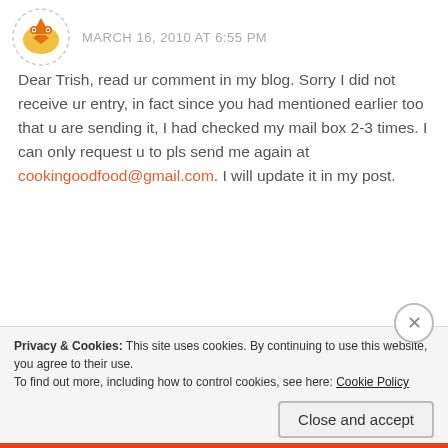MARCH 16, 2010 AT 6:55 PM
Dear Trish, read ur comment in my blog. Sorry I did not receive ur entry, in fact since you had mentioned earlier too that u are sending it, I had checked my mail box 2-3 times. I can only request u to pls send me again at cookingoodfood@gmail.com. I will update it in my post.
Like
Reply
Privacy & Cookies: This site uses cookies. By continuing to use this website, you agree to their use.
To find out more, including how to control cookies, see here: Cookie Policy
Close and accept